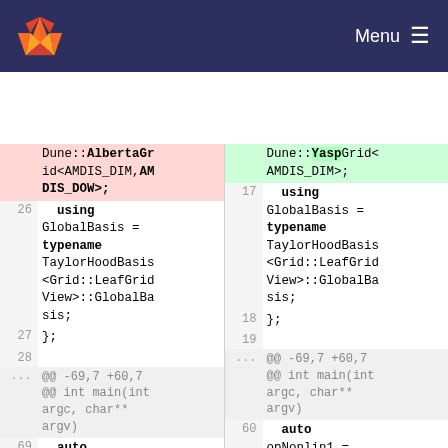GitLab navigation bar with logo and Menu
[Figure (screenshot): Code diff view showing two columns. Left side (deleted/old) shows lines 26-28 and 69 with AlbertaGrid code. Right side (added/new) shows lines 17-19 and 60 with YaspGrid code. Both sides show using GlobalBasis = typename TaylorHoodBasis<Grid::LeafGridView>::GlobalBasis; and auto opNonlin1 = makeOperator(ta g::testvec_tria code.]